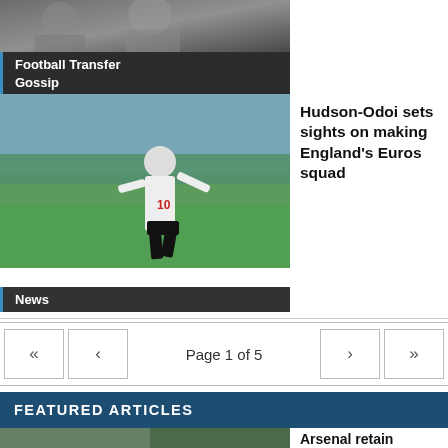[Figure (photo): Football Transfer Gossip thumbnail card with dark overlay and label]
[Figure (photo): Player in white jersey (Hudson-Odoi) running on pitch with stadium crowd background]
Hudson-Odoi sets sights on making England's Euros squad
News
Page 1 of 5
FEATURED ARTICLES
[Figure (photo): Arsenal football match action photo showing players from two teams]
Arsenal retain flawless record while showing they can win ugly with the best of them
[Figure (photo): Liverpool football match photo showing players celebrating or in action]
Liverpool left to rue missed opportunities as they fall short of perfect 10